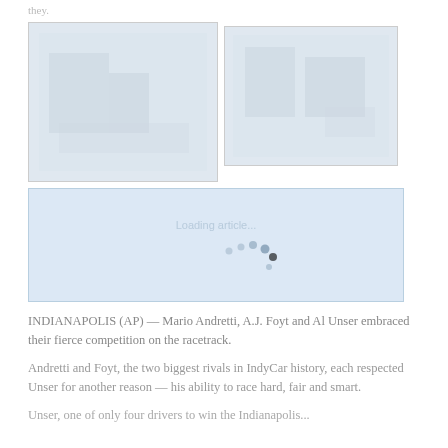they.
[Figure (photo): Two side-by-side faded photographs, left image larger showing figures outdoors, right image showing similar scene]
[Figure (screenshot): Loading placeholder box with spinning dots indicator, light blue background with faint text]
INDIANAPOLIS (AP) — Mario Andretti, A.J. Foyt and Al Unser embraced their fierce competition on the racetrack.
Andretti and Foyt, the two biggest rivals in IndyCar history, each respected Unser for another reason — his ability to race hard, fair and smart.
Unser, one of only four drivers to win the Indianapolis...